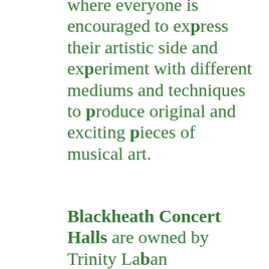where everyone is encouraged to express their artistic side and experiment with different mediums and techniques to produce original and exciting pieces of musical art.
Blackheath Concert Halls are owned by Trinity Laban Conservatoire of Music and Dance, the two buildings are closely tied together, and the Blackheath Concert Halls are used for practise and rehearsals for students performing at the annual Trinity Laban opera along with other large-scale events that call for regular rehearsal.
Blackheath Halls was actually originally used as a venue for both public meetings and old concerts. Countless historic events were held at Blackheath Concert Halls,